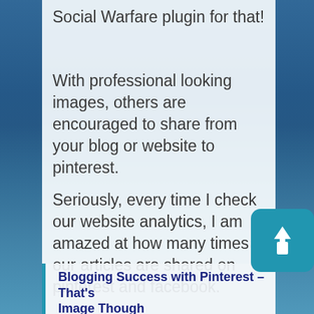Social Warfare plugin for that!
With professional looking images, others are encouraged to share from your blog or website to pinterest.
Seriously, every time I check our website analytics, I am amazed at how many times our articles are shared on pinterest and facebook.
Blogging Success with Pinterest – That's Image Though